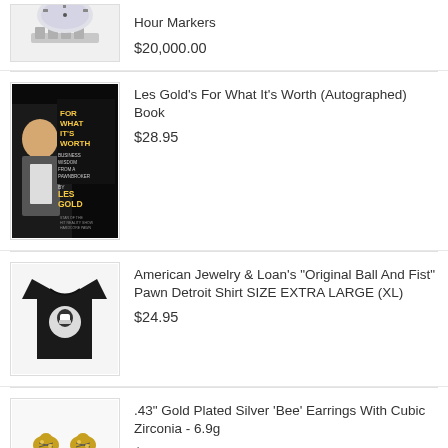[Figure (photo): Partial product image of a watch with hour markers visible at top]
Hour Markers
$20,000.00
[Figure (photo): Book cover: For What It's Worth, Business Wisdom From A Pawnbroker, by Les Gold, showing Les Gold on cover]
Les Gold's For What It's Worth (Autographed) Book
$28.95
[Figure (photo): Black t-shirt with Pawn Detroit Ball And Fist logo]
American Jewelry & Loan's "Original Ball And Fist" Pawn Detroit Shirt SIZE EXTRA LARGE (XL)
$24.95
[Figure (photo): Two small gold bee earrings with cubic zirconia]
.43" Gold Plated Silver 'Bee' Earrings With Cubic Zirconia - 6.9g
$45.00